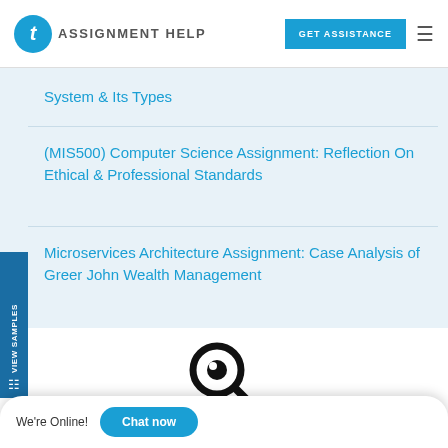t AssignmentHelp | GET ASSISTANCE
System & Its Types
(MIS500) Computer Science Assignment: Reflection On Ethical & Professional Standards
Microservices Architecture Assignment: Case Analysis of Greer John Wealth Management
[Figure (illustration): Magnifying glass search icon]
ssignment?
We're Online! Chat now